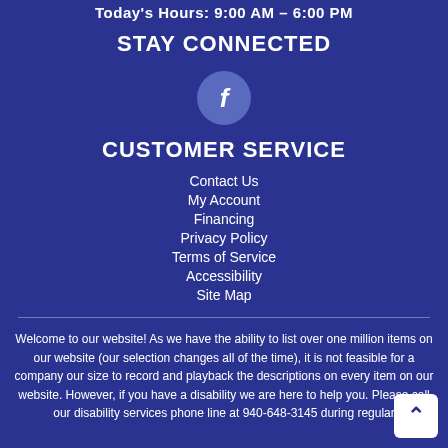Today's Hours: 9:00 AM - 6:00 PM
STAY CONNECTED
[Figure (logo): Facebook icon — white letter f on a muted blue circular background]
CUSTOMER SERVICE
Contact Us
My Account
Financing
Privacy Policy
Terms of Service
Accessibility
Site Map
Welcome to our website! As we have the ability to list over one million items on our website (our selection changes all of the time), it is not feasible for a company our size to record and playback the descriptions on every item on our website. However, if you have a disability we are here to help you. Please call our disability services phone line at 940-648-3145 during regular